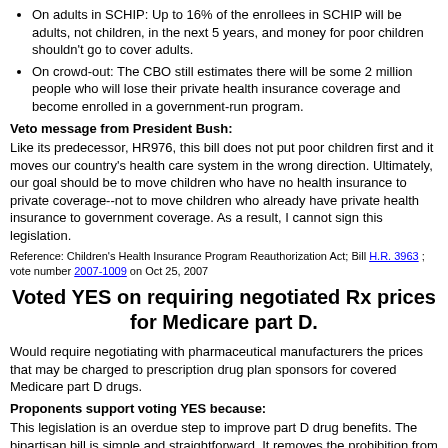On adults in SCHIP: Up to 16% of the enrollees in SCHIP will be adults, not children, in the next 5 years, and money for poor children shouldn't go to cover adults.
On crowd-out: The CBO still estimates there will be some 2 million people who will lose their private health insurance coverage and become enrolled in a government-run program.
Veto message from President Bush:
Like its predecessor, HR976, this bill does not put poor children first and it moves our country's health care system in the wrong direction. Ultimately, our goal should be to move children who have no health insurance to private coverage--not to move children who already have private health insurance to government coverage. As a result, I cannot sign this legislation.
Reference: Children's Health Insurance Program Reauthorization Act; Bill H.R. 3963 ; vote number 2007-1009 on Oct 25, 2007
Voted YES on requiring negotiated Rx prices for Medicare part D.
Would require negotiating with pharmaceutical manufacturers the prices that may be charged to prescription drug plan sponsors for covered Medicare part D drugs.
Proponents support voting YES because:
This legislation is an overdue step to improve part D drug benefits. The bipartisan bill is simple and straightforward. It removes the prohibition from negotiating discounts with pharmaceutical manufacturers, and requires the Secretary of Health & Human Services to negotiate. This legislation will deliver lower premiums to the seniors, lower prices at the pharmacy and savings for all taxpayers.